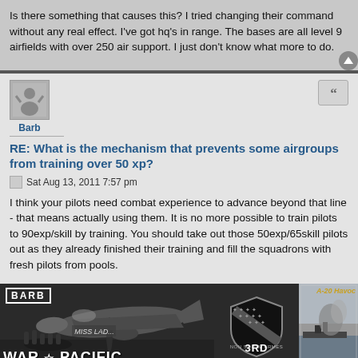Is there something that causes this? I tried changing their command without any real effect. I've got hq's in range. The bases are all level 9 airfields with over 250 air support. I just don't know what more to do.
Barb
RE: What is the mechanism that prevents some airgroups from training over 50 xp?
Sat Aug 13, 2011 7:57 pm
I think your pilots need combat experience to advance beyond that line - that means actually using them. It is no more possible to train pilots to 90exp/skill by training. You should take out those 50exp/65skill pilots out as they already finished their training and fill the squadrons with fresh pilots from pools.
[Figure (illustration): Forum signature banner showing WWII aircraft with text BARB, WAR & PACIFIC on left panel, 3RD BOMBARDMENT emblem in center, and A-20 Havoc aircraft photo on right]